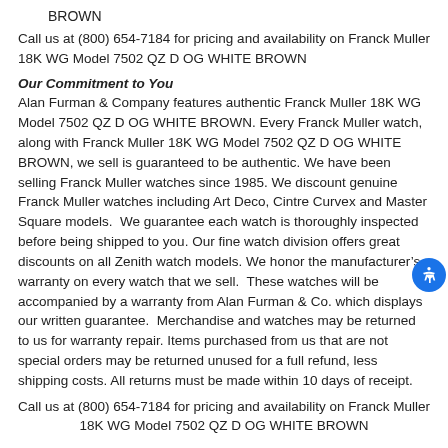BROWN
Call us at (800) 654-7184 for pricing and availability on Franck Muller 18K WG Model 7502 QZ D OG WHITE BROWN
Our Commitment to You
Alan Furman & Company features authentic Franck Muller 18K WG Model 7502 QZ D OG WHITE BROWN. Every Franck Muller watch, along with Franck Muller 18K WG Model 7502 QZ D OG WHITE BROWN, we sell is guaranteed to be authentic. We have been selling Franck Muller watches since 1985. We discount genuine Franck Muller watches including Art Deco, Cintre Curvex and Master Square models.  We guarantee each watch is thoroughly inspected before being shipped to you. Our fine watch division offers great discounts on all Zenith watch models. We honor the manufacturer's warranty on every watch that we sell.  These watches will be accompanied by a warranty from Alan Furman & Co. which displays our written guarantee.  Merchandise and watches may be returned to us for warranty repair. Items purchased from us that are not special orders may be returned unused for a full refund, less shipping costs. All returns must be made within 10 days of receipt.
Call us at (800) 654-7184 for pricing and availability on Franck Muller 18K WG Model 7502 QZ D OG WHITE BROWN